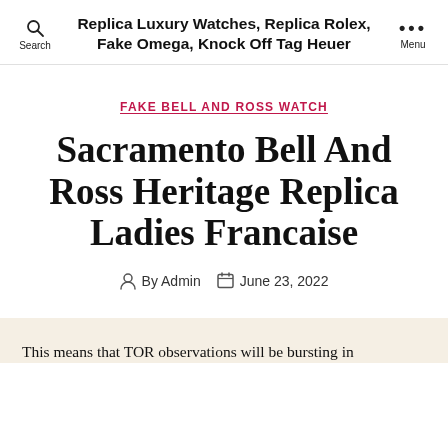Replica Luxury Watches, Replica Rolex, Fake Omega, Knock Off Tag Heuer
FAKE BELL AND ROSS WATCH
Sacramento Bell And Ross Heritage Replica Ladies Francaise
By Admin  June 23, 2022
This means that TOR observations will be bursting in